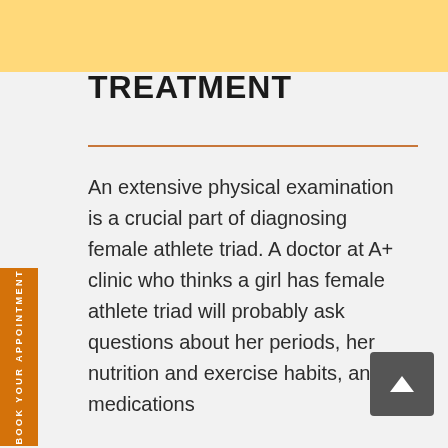TREATMENT
An extensive physical examination is a crucial part of diagnosing female athlete triad. A doctor at A+ clinic who thinks a girl has female athlete triad will probably ask questions about her periods, her nutrition and exercise habits, any medications